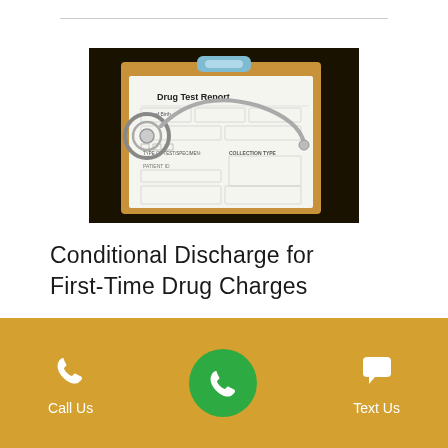[Figure (photo): Photo of a Drug Test Report form on a clipboard with a stethoscope on a dark background]
Conditional Discharge for First-Time Drug Charges
[Figure (infographic): Footer bar with Call Us phone icon, green circle phone icon in center, and Text Us speech bubble icon on golden/yellow background]